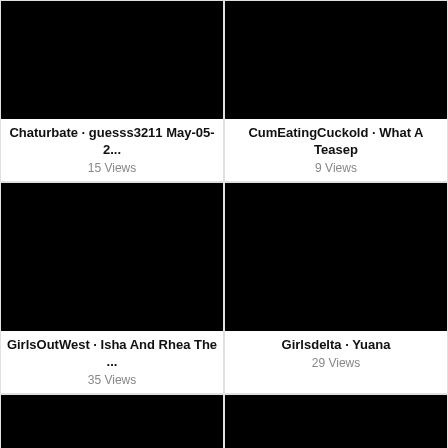[Figure (screenshot): Black video thumbnail]
Chaturbate · guesss3211 May-05-2...
15 Views
[Figure (screenshot): Black video thumbnail]
CumEatingCuckold · What A Teasep
9 Views
[Figure (screenshot): Black video thumbnail]
GirlsOutWest · Isha And Rhea The ...
35 Views
[Figure (screenshot): Black video thumbnail]
Girlsdelta · Yuana
29 Views
[Figure (screenshot): Black video thumbnail]
[Figure (screenshot): Black video thumbnail]